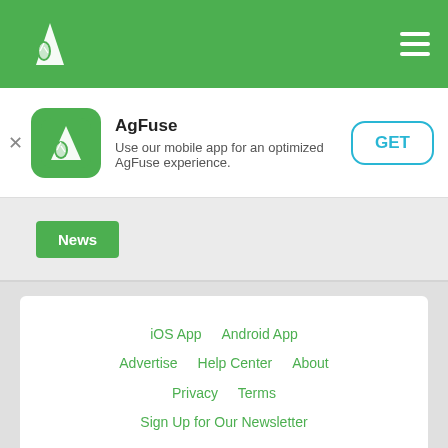AgFuse navigation bar
[Figure (screenshot): AgFuse app install banner with app icon, name, description, and GET button]
News
iOS App   Android App   Advertise   Help Center   About   Privacy   Terms   Sign Up for Our Newsletter
AgFuse © 2022